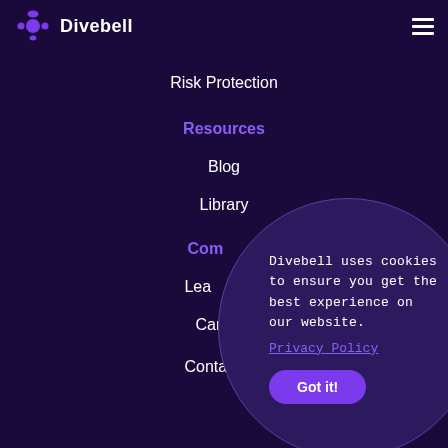Divebell
Risk Protection
Resources
Blog
Library
Company
Leadership
Careers
Contact Us
Divebell uses cookies to ensure you get the best experience on our website. Privacy Policy Got it!